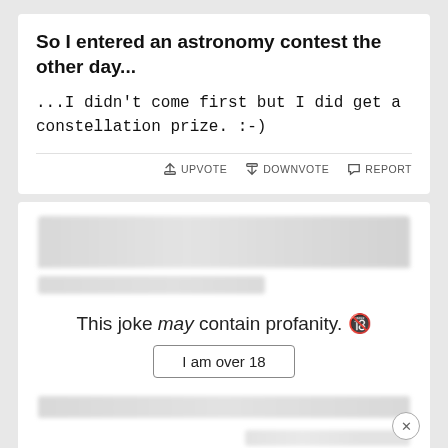So I entered an astronomy contest the other day...
...I didn't come first but I did get a constellation prize. :-)
UPVOTE  DOWNVOTE  REPORT
[Figure (screenshot): Profanity warning overlay card with blurred content behind it. Shows text: 'This joke may contain profanity.' and a button 'I am over 18']
[Figure (screenshot): Advertisement banner for Disney Bundle featuring Hulu, Disney+, ESPN+ logos with 'GET THE DISNEY BUNDLE' call to action button]